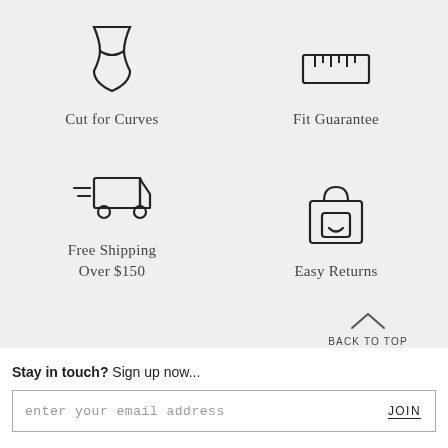[Figure (illustration): Icon of a dress/hourglass shape representing 'Cut for Curves']
Cut for Curves
[Figure (illustration): Icon of a ruler/measuring tape representing 'Fit Guarantee']
Fit Guarantee
[Figure (illustration): Icon of a delivery truck representing 'Free Shipping Over $150']
Free Shipping Over $150
[Figure (illustration): Icon of a shopping bag representing 'Easy Returns']
Easy Returns
BACK TO TOP
Stay in touch? Sign up now...
enter your email address
JOIN